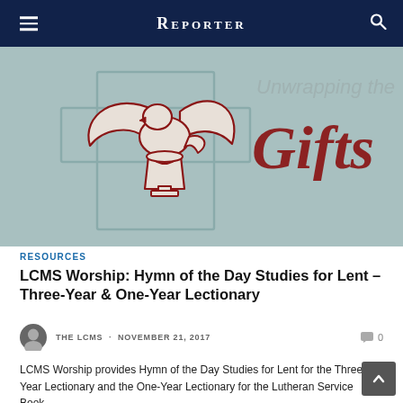Reporter
[Figure (illustration): Religious illustration showing a dove/Holy Spirit above a chalice/font with a cross outline, and script text reading 'Unwrapping the Gifts' on a blue-gray background]
RESOURCES
LCMS Worship: Hymn of the Day Studies for Lent – Three-Year & One-Year Lectionary
THE LCMS · NOVEMBER 21, 2017   0
LCMS Worship provides Hymn of the Day Studies for Lent for the Three-Year Lectionary and the One-Year Lectionary for the Lutheran Service Book..